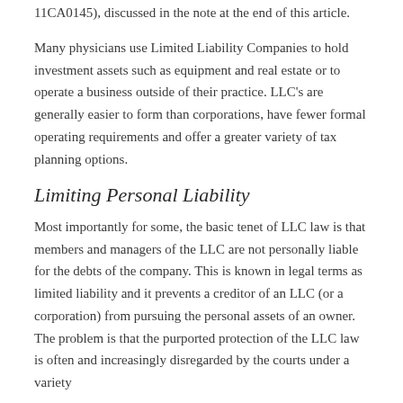11CA0145), discussed in the note at the end of this article.
Many physicians use Limited Liability Companies to hold investment assets such as equipment and real estate or to operate a business outside of their practice. LLC's are generally easier to form than corporations, have fewer formal operating requirements and offer a greater variety of tax planning options.
Limiting Personal Liability
Most importantly for some, the basic tenet of LLC law is that members and managers of the LLC are not personally liable for the debts of the company. This is known in legal terms as limited liability and it prevents a creditor of an LLC (or a corporation) from pursuing the personal assets of an owner. The problem is that the purported protection of the LLC law is often and increasingly disregarded by the courts under a variety